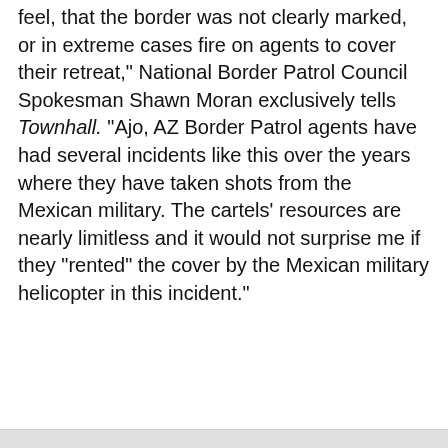feel, that the border was not clearly marked, or in extreme cases fire on agents to cover their retreat," National Border Patrol Council Spokesman Shawn Moran exclusively tells Townhall. "Ajo, AZ Border Patrol agents have had several incidents like this over the years where they have taken shots from the Mexican military. The cartels' resources are nearly limitless and it would not surprise me if they "rented" the cover by the Mexican military helicopter in this incident."
[Figure (other): Gray advertisement placeholder box with a close (X) button in the bottom right corner.]